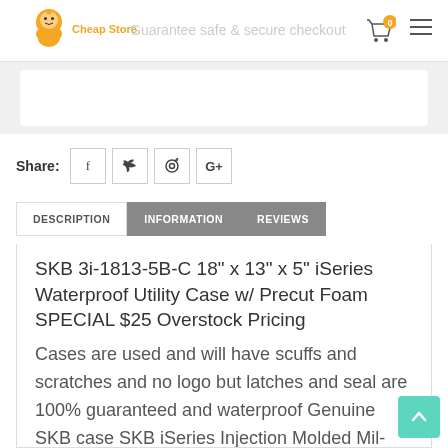Cheap Store — Guarantee safe & secure checkout
Share:
DESCRIPTION  INFORMATION  REVIEWS
SKB 3i-1813-5B-C 18" x 13" x 5" iSeries Waterproof Utility Case w/ Precut Foam SPECIAL $25 Overstock Pricing
Cases are used and will have scuffs and scratches and no logo but latches and seal are 100% guaranteed and waterproof Genuine SKB case SKB iSeries Injection Molded Mil-Standard Waterproof Cases are molded of ultra high-strength polypropylene copolymer resin,